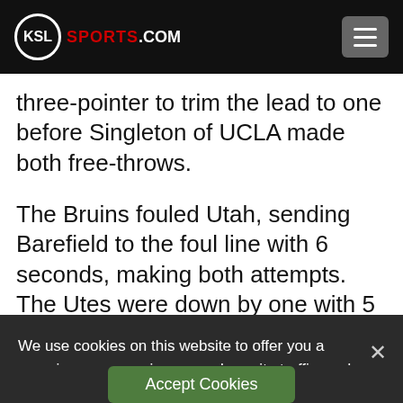KSL SPORTS.COM
three-pointer to trim the lead to one before Singleton of UCLA made both free-throws.
The Bruins fouled Utah, sending Barefield to the foul line with 6 seconds, making both attempts. The Utes were down by one with 5
We use cookies on this website to offer you a superior user experience, analyze site traffic, and personalize content and advertisements. By continuing to use our site, you consent to our use of cookies. Please visit our Privacy Policy for more information.
Accept Cookies